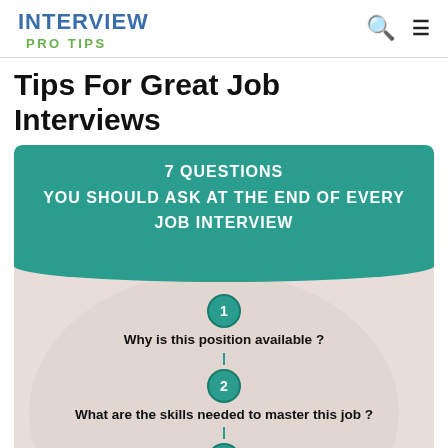INTERVIEW PRO TIPS
Tips For Great Job Interviews
[Figure (infographic): Infographic titled '7 Questions You Should Ask At The End Of Every Job Interview' with a teal header and a beige blob background listing numbered questions: 1. Why is this position available? 2. What are the skills needed to master this job? 3. What's the most important part of this role? 4. (partially visible)]